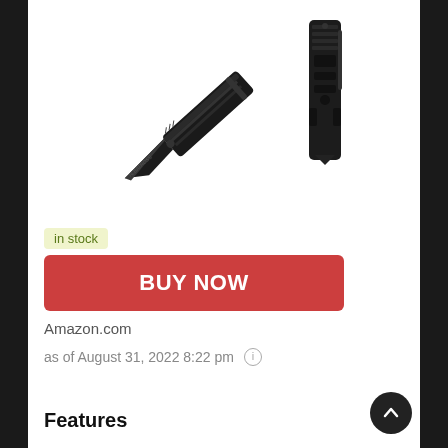[Figure (photo): Two black folding tactical knives (Albatross brand) shown open and closed against a white background]
in stock
BUY NOW
Amazon.com
as of August 31, 2022 8:22 pm
Features